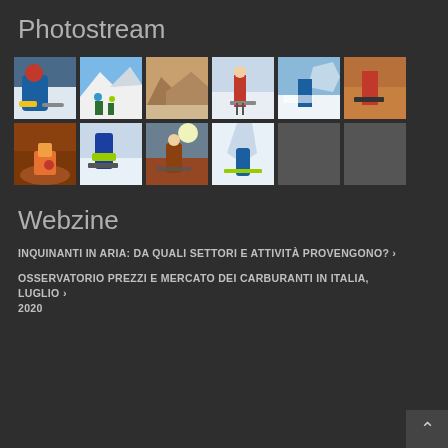Photostream
[Figure (photo): Grid of 10 ski/winter sport photos arranged in 2 rows of 6, with 2 grey placeholder squares in the second row. Photos show skiers, mountains, and winter scenes.]
Webzine
INQUINANTI IN ARIA: DA QUALI SETTORI E ATTIVITÀ PROVENGONO? ›
OSSERVATORIO PREZZI E MERCATO DEI CARBURANTI IN ITALIA, LUGLIO 2020